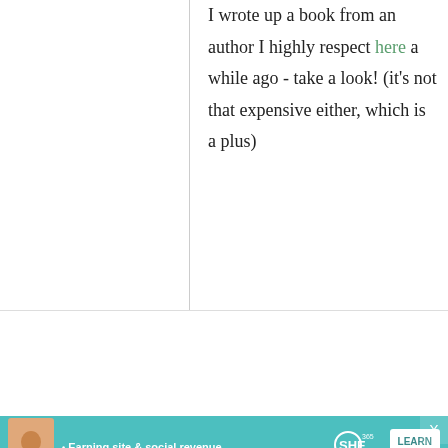I wrote up a book from an author I highly respect here a while ago - take a look! (it's not that expensive either, which is a plus)
chamomile-tarragon
27 June, 2008 - 23:43
permalink
Hello Maki
i love your...
[Figure (infographic): SHE Partner Network advertisement banner with teal background, woman avatar, bullet text 'Earning site & social revenue', SHE logo, and LEARN MORE button]